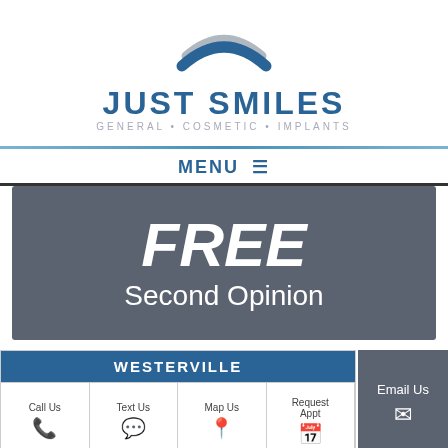[Figure (logo): Just Smiles dental practice logo with stylized smile arc in blue and grey, with text JUST SMILES and tagline GENERAL • COSMETIC • IMPLANTS]
MENU ≡
[Figure (infographic): Dark grey promotional banner with large italic white text FREE and subtitle Second Opinion]
WESTERVILLE
Call Us | Text Us | Map Us | Request Appt | Email Us